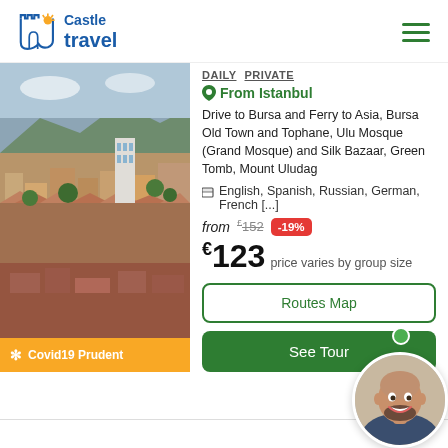[Figure (logo): Castle Travel logo with castle icon, 'Castle' text above 'travel' in blue]
DAILY PRIVATE
From Istanbul
Drive to Bursa and Ferry to Asia, Bursa Old Town and Tophane, Ulu Mosque (Grand Mosque) and Silk Bazaar, Green Tomb, Mount Uludag
English, Spanish, Russian, German, French [...]
from £152 -19%
€123 price varies by group size
Covid19 Prudent
[Figure (photo): Aerial view of Bursa old town with terracotta rooftops and city skyline and hills in background]
Routes Map
See Tour
[Figure (photo): Chat support agent avatar - bald smiling man with beard]